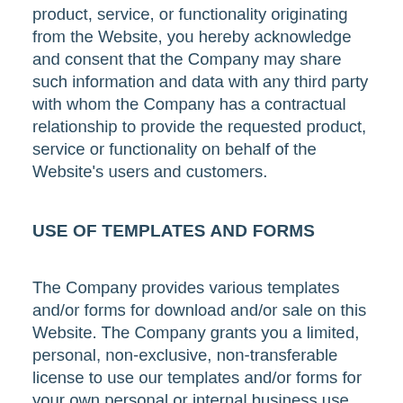product, service, or functionality originating from the Website, you hereby acknowledge and consent that the Company may share such information and data with any third party with whom the Company has a contractual relationship to provide the requested product, service or functionality on behalf of the Website's users and customers.
USE OF TEMPLATES AND FORMS
The Company provides various templates and/or forms for download and/or sale on this Website. The Company grants you a limited, personal, non-exclusive, non-transferable license to use our templates and/or forms for your own personal or internal business use. Except as otherwise provided, you acknowledge and agree that